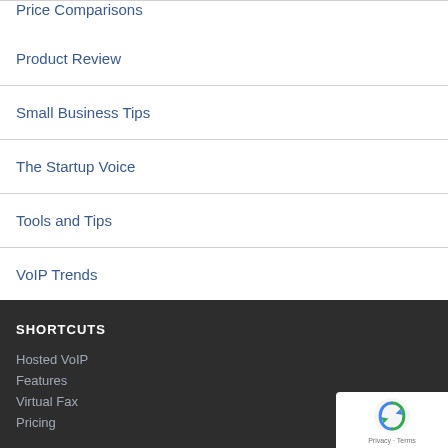Price Comparisons
Product Review
Small Business Tips
The Startup Voice
Tools and Tips
VoIP Trends
SHORTCUTS
Hosted VoIP
Features
Virtual Fax
Pricing